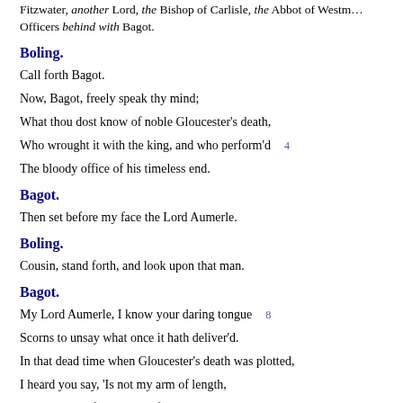Fitzwater, another Lord, the Bishop of Carlisle, the Abbot of Westminster, Officers behind with Bagot.
Boling.
Call forth Bagot.
Now, Bagot, freely speak thy mind;
What thou dost know of noble Gloucester's death,
Who wrought it with the king, and who perform'd  4
The bloody office of his timeless end.
Bagot.
Then set before my face the Lord Aumerle.
Boling.
Cousin, stand forth, and look upon that man.
Bagot.
My Lord Aumerle, I know your daring tongue  8
Scorns to unsay what once it hath deliver'd.
In that dead time when Gloucester's death was plotted,
I heard you say, 'Is not my arm of length,
That reacheth from the restful English court  12